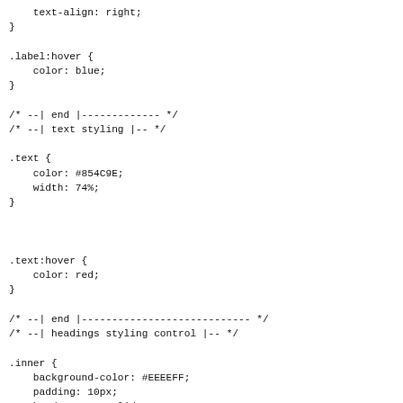text-align: right;
}

.label:hover {
    color: blue;
}

/* --| end |------------- */
/* --| text styling |-- */

.text {
    color: #854C9E;
    width: 74%;
}



.text:hover {
    color: red;
}

/* --| end |---------------------------- */
/* --| headings styling control |-- */

.inner {
    background-color: #EEEEFF;
    padding: 10px;
    border: 1px solid #CCCFC8;
    font-family: "Comic Sans MS", "Trebuchet MS", "Times New Roman";
    font-size: 22px;
    font-weight: bold;
    color: #854C9E;
}

.outer2 {
    z-index: 1;
    background-color: #EEDDFF;
    margin: 0px;
    padding: 6px;